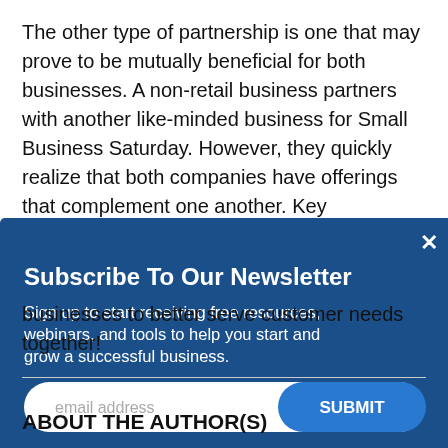The other type of partnership is one that may prove to be mutually beneficial for both businesses. A non-retail business partners with another like-minded business for Small Business Saturday. However, they quickly realize that both companies have offerings that complement one another. Key ingredients
[Figure (screenshot): Newsletter subscription modal overlay with dark blue background. Title: 'Subscribe To Our Newsletter'. Subtitle: 'Sign up to start receiving free resources, webinars, and tools to help you start and grow a successful business.' Email input field with placeholder 'email address' and a blue 'SUBMIT' button. Close (x) button in top right corner.]
businesses to better serve customer needs together!
ABOUT THE AUTHOR(S)